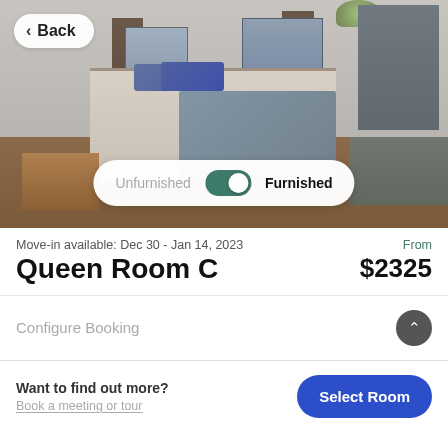[Figure (photo): Bedroom photo showing a queen bed with blue pillows and gray blanket, wooden nightstand, bookshelves, desk, and windows with dark curtains. Unfurnished/Furnished toggle pill overlaid at bottom center.]
Move-in available: Dec 30 - Jan 14, 2023
From
Queen Room C
$2325
Configure Booking
Want to find out more?
Book a meeting or tour
Select Room